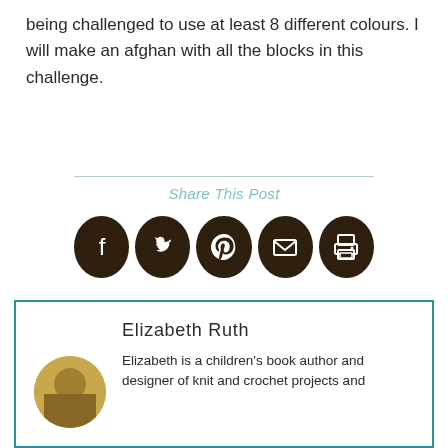being challenged to use at least 8 different colours. I will make an afghan with all the blocks in this challenge.
Share This Post
[Figure (infographic): Five dark brown circular social media share icons: Facebook, Twitter, Pinterest, Email, and Print]
Elizabeth Ruth
Elizabeth is a children's book author and designer of knit and crochet projects and patterns...